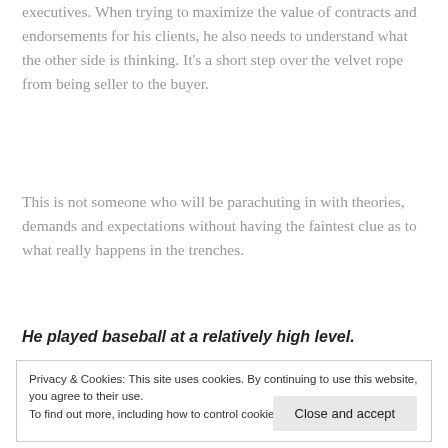executives. When trying to maximize the value of contracts and endorsements for his clients, he also needs to understand what the other side is thinking. It's a short step over the velvet rope from being seller to the buyer.
This is not someone who will be parachuting in with theories, demands and expectations without having the faintest clue as to what really happens in the trenches.
He played baseball at a relatively high level.
Privacy & Cookies: This site uses cookies. By continuing to use this website, you agree to their use.
To find out more, including how to control cookies, see here: Cookie Policy